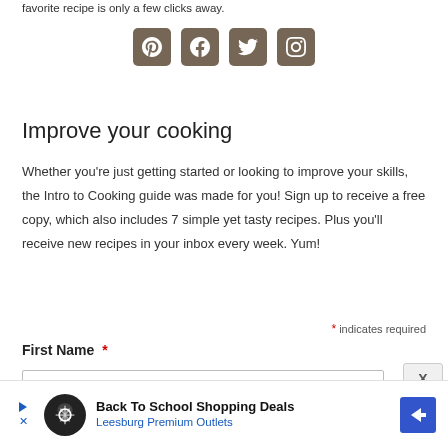favorite recipe is only a few clicks away.
[Figure (illustration): Four social media icon buttons (Pinterest, Facebook, Twitter, Instagram) with brown/taupe rounded square backgrounds and white icons]
Improve your cooking
Whether you’re just getting started or looking to improve your skills, the Intro to Cooking guide was made for you! Sign up to receive a free copy, which also includes 7 simple yet tasty recipes. Plus you’ll receive new recipes in your inbox every week. Yum!
* indicates required
First Name *
[Figure (screenshot): Advertisement banner: Back To School Shopping Deals - Leesburg Premium Outlets]